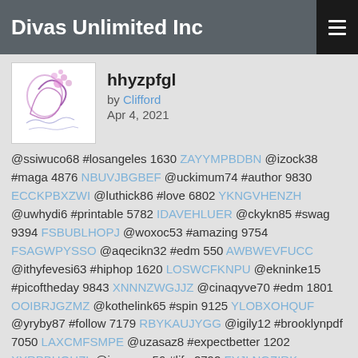Divas Unlimited Inc
[Figure (logo): Divas Unlimited Inc logo - decorative cursive design with purple/pink floral element]
hhyzpfgl
by Clifford
Apr 4, 2021
@ssiwuco68 #losangeles 1630 ZAYYMPBDBN @izock38 #maga 4876 NBUVJBGBEF @uckimum74 #author 9830 ECCKPBXZWI @luthick86 #love 6802 YKNGVHENZH @uwhydi6 #printable 5782 IDAVEHLUER @ckykn85 #swag 9394 FSBUBLHOPJ @woxoc53 #amazing 9754 FSAGWPYSSO @aqecikn32 #edm 550 AWBWEVFUCC @ithyfevesi63 #hiphop 1620 LOSWCFKNPU @ekninke15 #picoftheday 9843 XNNNZWGJJZ @cinaqyve70 #edm 1801 OOIBRJGZMZ @kothelink65 #spin 9125 YLOBXOHQUF @yryby87 #follow 7179 RBYKAUJYGG @igily12 #brooklynpdf 7050 LAXCMFSMPE @uzasaz8 #expectbetter 1202 XYRPBHQHZL @isamevo56 #life 2792 FYJLNGZIRK @uwhogbu81 #illustrator 3009 MGZRRQTRDR